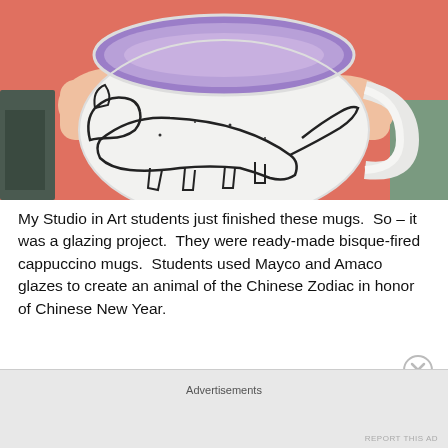[Figure (photo): A child in a pink/coral sweatshirt holding a large white ceramic cappuccino mug with a purple interior. The mug has a hand-drawn outline of a fox or dog (Chinese Zodiac animal) in black on its white surface.]
My Studio in Art students just finished these mugs.  So – it was a glazing project.  They were ready-made bisque-fired cappuccino mugs.  Students used Mayco and Amaco glazes to create an animal of the Chinese Zodiac in honor of Chinese New Year.
Advertisements